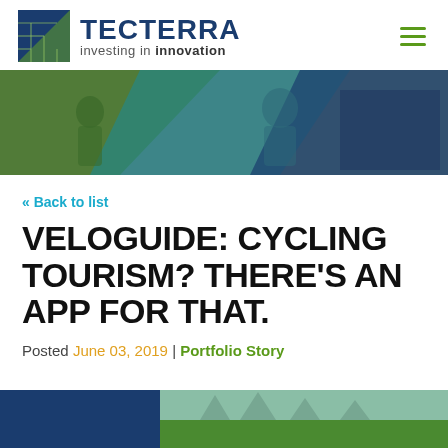[Figure (logo): TECTERRA logo with blue square icon containing grid pattern and green triangle, with text 'TECTERRA investing in innovation']
[Figure (photo): Hero banner with overlapping geometric shapes in green, blue, teal showing people in professional/innovation settings]
« Back to list
VELOGUIDE: CYCLING TOURISM? THERE'S AN APP FOR THAT.
Posted June 03, 2019 | Portfolio Story
[Figure (photo): Partial preview of article image at bottom — blue and green tones showing outdoor/cycling scene]